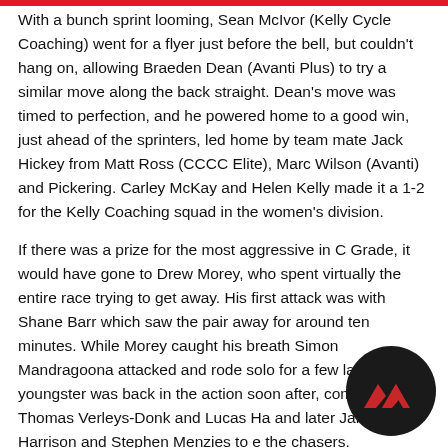With a bunch sprint looming, Sean McIvor (Kelly Cycle Coaching) went for a flyer just before the bell, but couldn't hang on, allowing Braeden Dean (Avanti Plus) to try a similar move along the back straight. Dean's move was timed to perfection, and he powered home to a good win, just ahead of the sprinters, led home by team mate Jack Hickey from Matt Ross (CCCC Elite), Marc Wilson (Avanti) and Pickering. Carley McKay and Helen Kelly made it a 1-2 for the Kelly Coaching squad in the women's division.
If there was a prize for the most aggressive in C Grade, it would have gone to Drew Morey, who spent virtually the entire race trying to get away. His first attack was with Shane Barr which saw the pair away for around ten minutes. While Morey caught his breath Simon Mandragoona attacked and rode solo for a few laps, but the youngster was back in the action soon after, combining with Thomas Verleys-Donk and Lucas Ha and later James Harrison and Stephen Menzies to e the chasers.
[Figure (logo): Circular black logo with red angular chevron/mountain shapes]